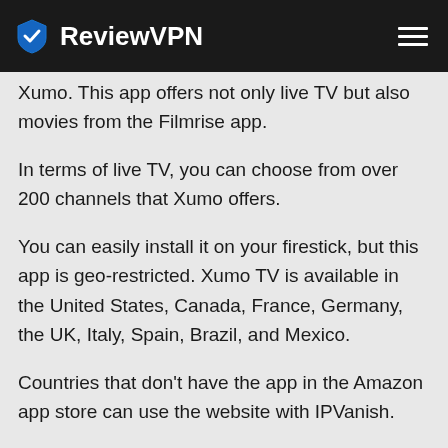ReviewVPN
Xumo. This app offers not only live TV but also movies from the Filmrise app.
In terms of live TV, you can choose from over 200 channels that Xumo offers.
You can easily install it on your firestick, but this app is geo-restricted. Xumo TV is available in the United States, Canada, France, Germany, the UK, Italy, Spain, Brazil, and Mexico.
Countries that don't have the app in the Amazon app store can use the website with IPVanish.